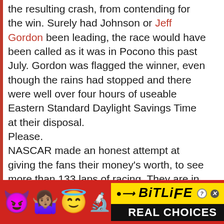the resulting crash, from contending for the win. Surely had Johnson or Jeff Gordon been leading, the race would have been called as it was in Pocono this past July. Gordon was flagged the winner, even though the rains had stopped and there were well over four hours of useable Eastern Standard Daylight Savings Time at their disposal.

Please.

NASCAR made an honest attempt at giving the fans their money's worth, to see more than 133 laps of racing. They are in the middle of a championship chase, while the
[Figure (other): Advertisement banner for BitLife mobile game. Red background with emoji characters (devil, person shrugging, angel/halo smiley, sperm emoji) on left, BitLife logo in yellow on right with 'REAL CHOICES' text in white on black background.]